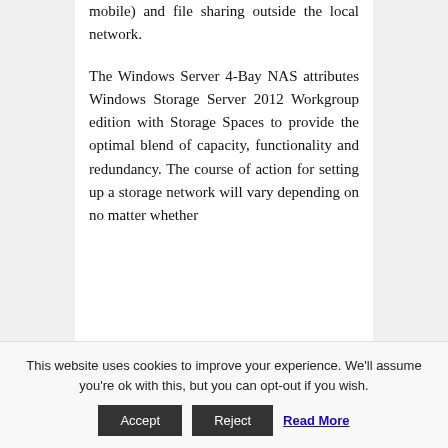mobile) and file sharing outside the local network.
The Windows Server 4-Bay NAS attributes Windows Storage Server 2012 Workgroup edition with Storage Spaces to provide the optimal blend of capacity, functionality and redundancy. The course of action for setting up a storage network will vary depending on no matter whether
This website uses cookies to improve your experience. We'll assume you're ok with this, but you can opt-out if you wish. Accept Reject Read More